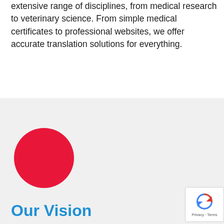extensive range of disciplines, from medical research to veterinary science. From simple medical certificates to professional websites, we offer accurate translation solutions for everything.
[Figure (illustration): A large red circle on a light gray background, used as a decorative/section graphic element above the 'Our Vision' heading.]
Our Vision